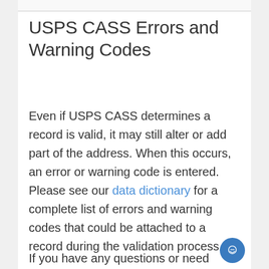USPS CASS Errors and Warning Codes
Even if USPS CASS determines a record is valid, it may still alter or add part of the address. When this occurs, an error or warning code is entered.  Please see our data dictionary for a complete list of errors and warning codes that could be attached to a record during the validation process.
If you have any questions or need